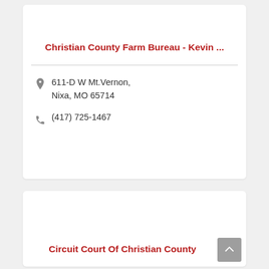Christian County Farm Bureau - Kevin ...
611-D W Mt.Vernon,
Nixa, MO 65714
(417) 725-1467
Circuit Court Of Christian County